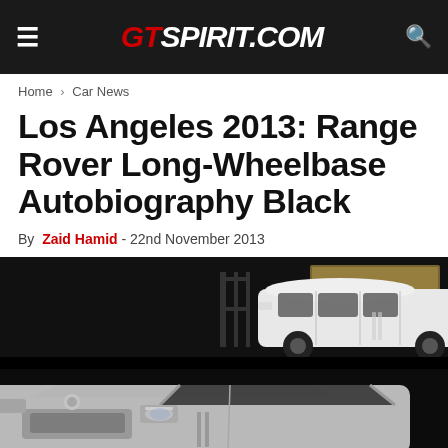GTspirit.com
Home > Car News
Los Angeles 2013: Range Rover Long-Wheelbase Autobiography Black
By Zaid Hamid - 22nd November 2013
[Figure (photo): Range Rover Long-Wheelbase Autobiography Black on display at the 2013 Los Angeles Auto Show. Top portion shows white Range Rover LWB in profile on a dark display stage with a illuminated backdrop. Bottom portion shows a closer angled view of a white Range Rover from the front-side.]